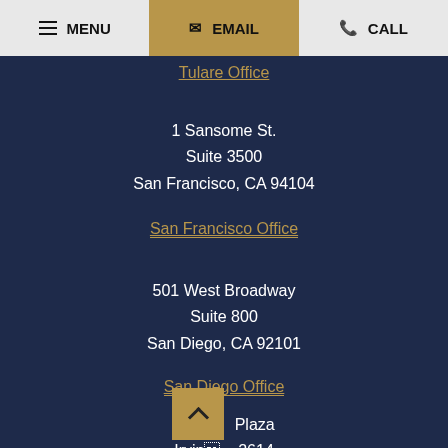MENU  EMAIL  CALL
Tulare Office
1 Sansome St.
Suite 3500
San Francisco, CA 94104
San Francisco Office
501 West Broadway
Suite 800
San Diego, CA 92101
San Diego Office
One  Plaza
Irvine  2614